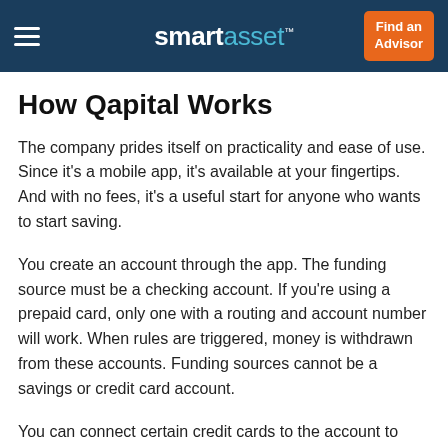smartasset™  Find an Advisor
How Qapital Works
The company prides itself on practicality and ease of use. Since it's a mobile app, it's available at your fingertips. And with no fees, it's a useful start for anyone who wants to start saving.
You create an account through the app. The funding source must be a checking account. If you're using a prepaid card, only one with a routing and account number will work. When rules are triggered, money is withdrawn from these accounts. Funding sources cannot be a savings or credit card account.
You can connect certain credit cards to the account to help track your spending. Purchases made with these cards will